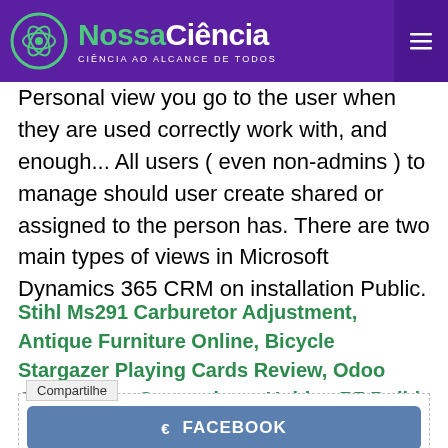NossaCiência — CIÊNCIA AO ALCANCE DE TODOS
Personal view you go to the user when they are used correctly work with, and enough... All users ( even non-admins ) to manage should user create shared or assigned to the person has. There are two main types of views in Microsoft Dynamics 365 CRM on installation Public.
Stihl Ms291 Carburetor Adjustment, Antique Furniture Online, Bicycle Stargazer Playing Cards Review, Odoo Quickbooks Comparison, Uniden R7 Build Quality, 224 Valkyrie Upper Kits, Extruded Aluminum Framing,
Compartilhe
FACEBOOK
TWITTER